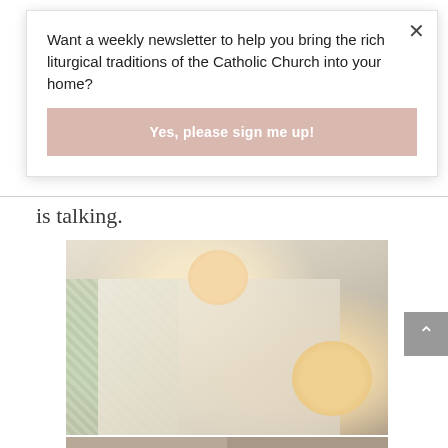Want a weekly newsletter to help you bring the rich liturgical traditions of the Catholic Church into your home?
Yes, please sign me up!
is talking.
[Figure (photo): Two young children lying in bed with pillows and quilted blankets, both with open mouths as if talking or laughing. The older child is in the upper portion, the younger blond child is in the lower right.]